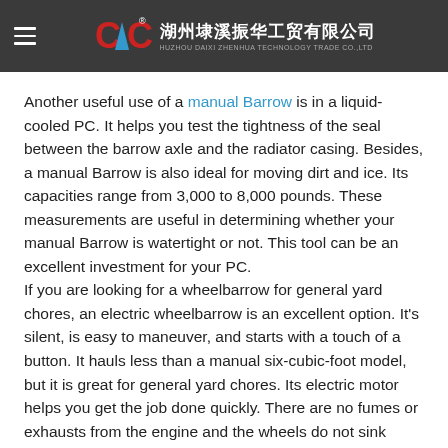湖州埭溪振华工贸有限公司 HUZHOU DAIXI ZHENHUA TECHNOLOGY TRADE CO.,LTD
Another useful use of a manual Barrow is in a liquid-cooled PC. It helps you test the tightness of the seal between the barrow axle and the radiator casing. Besides, a manual Barrow is also ideal for moving dirt and ice. Its capacities range from 3,000 to 8,000 pounds. These measurements are useful in determining whether your manual Barrow is watertight or not. This tool can be an excellent investment for your PC.
If you are looking for a wheelbarrow for general yard chores, an electric wheelbarrow is an excellent option. It's silent, is easy to maneuver, and starts with a touch of a button. It hauls less than a manual six-cubic-foot model, but it is great for general yard chores. Its electric motor helps you get the job done quickly. There are no fumes or exhausts from the engine and the wheels do not sink under water.
Another option is a tracked power barrow. This kind of barrow is